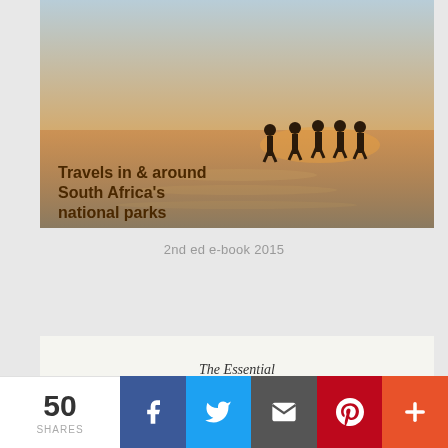[Figure (photo): Book cover - Travels in & around South Africa's national parks, showing people walking through water at sunset]
2nd ed e-book 2015
[Figure (photo): Book cover - The Essential GUIDE to SELF-EDITING: Power tips to improve your writing, website and blog]
50 SHARES
[Figure (infographic): Social share bar with Facebook, Twitter, Email, Pinterest, and More buttons]